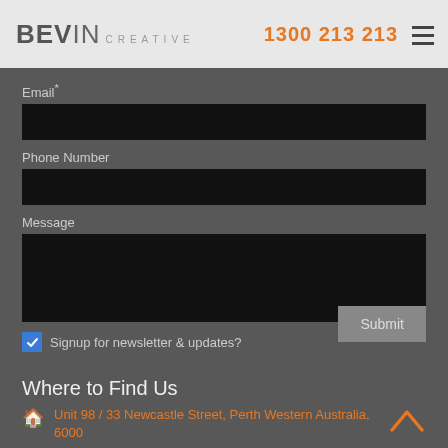BEVIN CREATIVE | 1300 213 213
Email*
Phone Number
Message
Signup for newsletter & updates?
Submit
Where to Find Us
Unit 98 / 33 Newcastle Street, Perth Western Australia, 6000